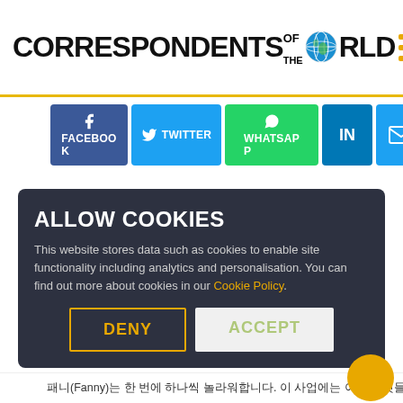CORRESPONDENTS OF THE WORLD
[Figure (screenshot): Social media sharing buttons: Facebook, Twitter, WhatsApp, LinkedIn, Email]
ALLOW COOKIES
This website stores data such as cookies to enable site functionality including analytics and personalisation. You can find out more about cookies in our Cookie Policy.
DENY  ACCEPT
패니(Fanny)는 한 번에 하나씩 놀라워합니다. 이 사업에는 이상한 것들이 있다